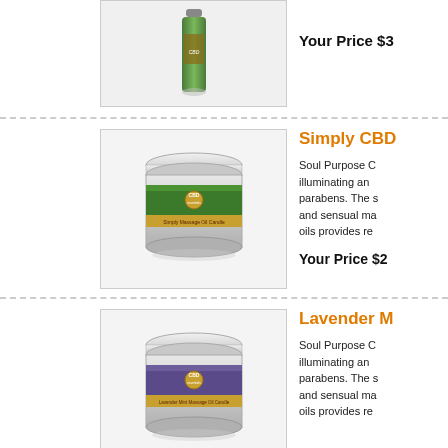[Figure (photo): Partial view of a product image (green tube/bottle) in a bordered image box at top of page]
Your Price $3
[Figure (photo): CBD Essentials Simply Massage Oil Candle in a silver tin with green label]
Simply CBD
Soul Purpose C... illuminating an... parabens. The s... and sensual ma... oils provides re...
Your Price $2
[Figure (photo): CBD Essentials Lavender Mint Massage Oil Candle in a silver tin with purple/blue label]
Lavender M
Soul Purpose C... illuminating an... parabens. The s... and sensual ma... oils provides re...